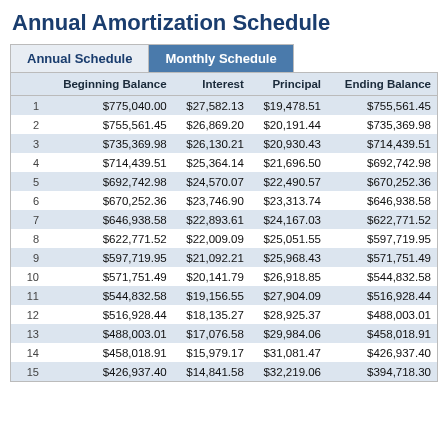Annual Amortization Schedule
|  | Beginning Balance | Interest | Principal | Ending Balance |
| --- | --- | --- | --- | --- |
| 1 | $775,040.00 | $27,582.13 | $19,478.51 | $755,561.45 |
| 2 | $755,561.45 | $26,869.20 | $20,191.44 | $735,369.98 |
| 3 | $735,369.98 | $26,130.21 | $20,930.43 | $714,439.51 |
| 4 | $714,439.51 | $25,364.14 | $21,696.50 | $692,742.98 |
| 5 | $692,742.98 | $24,570.07 | $22,490.57 | $670,252.36 |
| 6 | $670,252.36 | $23,746.90 | $23,313.74 | $646,938.58 |
| 7 | $646,938.58 | $22,893.61 | $24,167.03 | $622,771.52 |
| 8 | $622,771.52 | $22,009.09 | $25,051.55 | $597,719.95 |
| 9 | $597,719.95 | $21,092.21 | $25,968.43 | $571,751.49 |
| 10 | $571,751.49 | $20,141.79 | $26,918.85 | $544,832.58 |
| 11 | $544,832.58 | $19,156.55 | $27,904.09 | $516,928.44 |
| 12 | $516,928.44 | $18,135.27 | $28,925.37 | $488,003.01 |
| 13 | $488,003.01 | $17,076.58 | $29,984.06 | $458,018.91 |
| 14 | $458,018.91 | $15,979.17 | $31,081.47 | $426,937.40 |
| 15 | $426,937.40 | $14,841.58 | $32,219.06 | $394,718.30 |